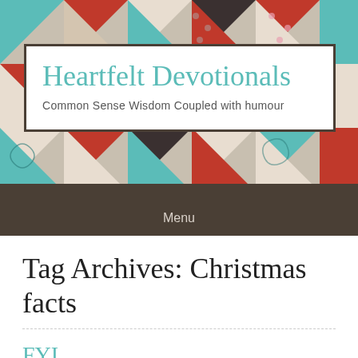[Figure (illustration): Colorful quilt patchwork pattern background with triangles and squares in red, teal, beige, and dark colors forming the header background]
Heartfelt Devotionals
Common Sense Wisdom Coupled with humour
Menu
Tag Archives: Christmas facts
FYI
Posted on December 22, 2013 by Brenda